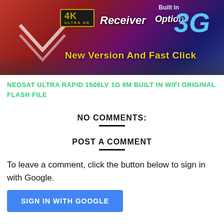[Figure (photo): Product banner image showing a satellite receiver/set-top box advertisement with 4K Ultra HD badge, 3G badge, 'Built in' text, 'New Version And Fast Click' text on a red/purple gradient background with chevron design]
NEOSAT ULTRA RAPID 1506LV 1G 8M BUILT IN WIFI ORIGINAL FLASH FILE
NO COMMENTS:
POST A COMMENT
To leave a comment, click the button below to sign in with Google.
SIGN IN WITH GOOGLE